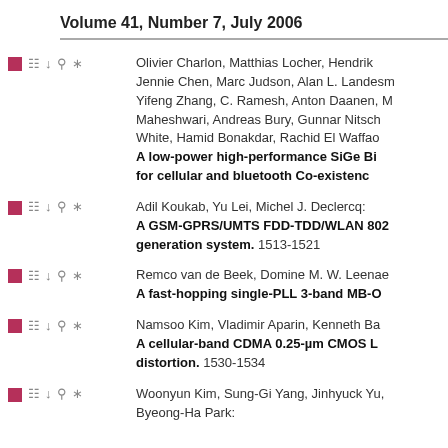Volume 41, Number 7, July 2006
Olivier Charlon, Matthias Locher, Hendrik Jennie Chen, Marc Judson, Alan L. Landesm Yifeng Zhang, C. Ramesh, Anton Daanen, M Maheshwari, Andreas Bury, Gunnar Nitsch White, Hamid Bonakdar, Rachid El Waffao A low-power high-performance SiGe Bi for cellular and bluetooth Co-existenc
Adil Koukab, Yu Lei, Michel J. Declercq: A GSM-GPRS/UMTS FDD-TDD/WLAN 802 generation system. 1513-1521
Remco van de Beek, Domine M. W. Leenae A fast-hopping single-PLL 3-band MB-O
Namsoo Kim, Vladimir Aparin, Kenneth Ba A cellular-band CDMA 0.25-µm CMOS L distortion. 1530-1534
Woonyun Kim, Sung-Gi Yang, Jinhyuck Yu, Byeong-Ha Park: